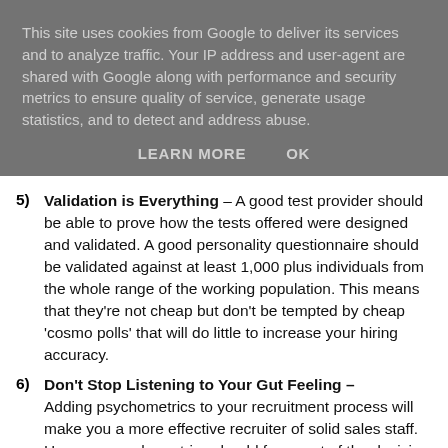This site uses cookies from Google to deliver its services and to analyze traffic. Your IP address and user-agent are shared with Google along with performance and security metrics to ensure quality of service, generate usage statistics, and to detect and address abuse.
LEARN MORE   OK
5) Validation is Everything – A good test provider should be able to prove how the tests offered were designed and validated. A good personality questionnaire should be validated against at least 1,000 plus individuals from the whole range of the working population. This means that they're not cheap but don't be tempted by cheap 'cosmo polls' that will do little to increase your hiring accuracy.
6) Don't Stop Listening to Your Gut Feeling – Adding psychometrics to your recruitment process will make you a more effective recruiter of solid sales staff. However psychometrics should form part of the decision making process and not the